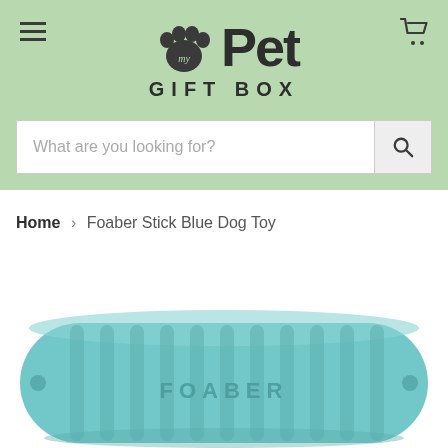[Figure (screenshot): My Pet Gift Box website header with logo, hamburger menu, cart icon, and search bar on a light green background]
Home > Foaber Stick Blue Dog Toy
[Figure (photo): Foaber Stick Blue Dog Toy - a blue ridged rubber chew toy with FOABER text embossed on it, shown at the bottom of the page]